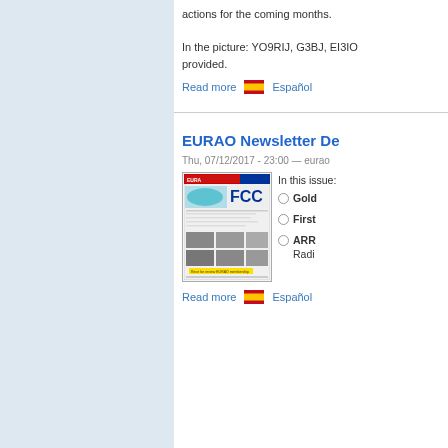actions for the coming months.
In the picture: YO9RIJ, G3BJ, EI3IO... provided.
Read more   Español
EURAO Newsletter De...
Thu, 07/12/2017 - 23:00 — eurao
[Figure (screenshot): Thumbnail of EURAO newsletter cover page showing a world map and FCC text]
In this issue:
Gold...
First...
ARR... Radi...
Read more   Español